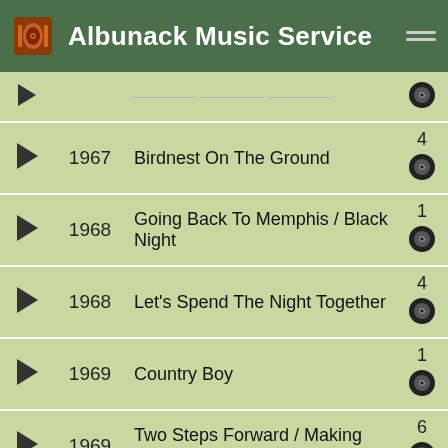Albunack Music Service
|  | Year | Title | Count/Vinyl |
| --- | --- | --- | --- |
| ▶ | 1967 | Birdnest On The Ground | 4 |
| ▶ | 1968 | Going Back To Memphis / Black Night | 1 |
| ▶ | 1968 | Let's Spend The Night Together | 4 |
| ▶ | 1969 | Country Boy | 1 |
| ▶ | 1969 | Two Steps Forward / Making Friends | 6 |
| ▶ | 1970 | I Feel So Good / Going Home | 2 |
| ▶ | 1973 | Can't Get No Grindin' | 5 |